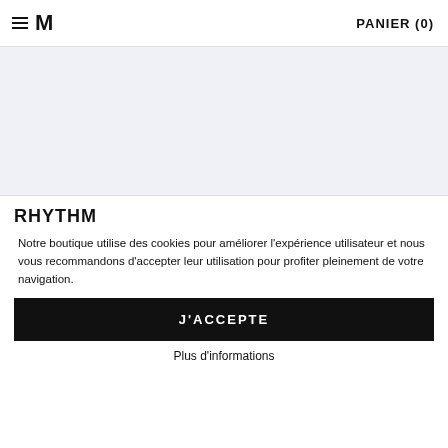≡ M   PANIER (0)
[Figure (other): Light grey rectangular image placeholder area]
RHYTHM
Notre boutique utilise des cookies pour améliorer l'expérience utilisateur et nous vous recommandons d'accepter leur utilisation pour profiter pleinement de votre navigation.
J'ACCEPTE
Plus d'informations